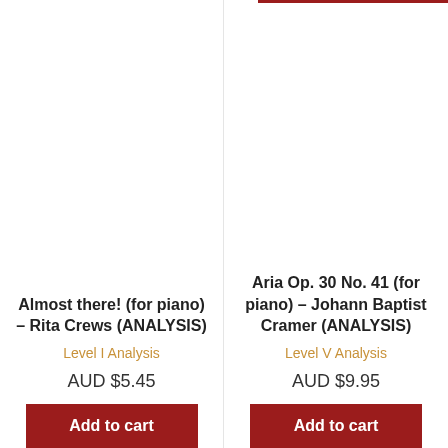Almost there! (for piano) – Rita Crews (ANALYSIS)
Level I Analysis
AUD $5.45
Add to cart
Aria Op. 30 No. 41 (for piano) – Johann Baptist Cramer (ANALYSIS)
Level V Analysis
AUD $9.95
Add to cart